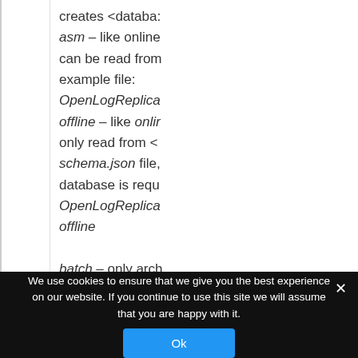creates <databa: asm – like online can be read from example file: OpenLogReplica offline – like onlir only read from < schema.json file, database is requ OpenLogReplica offline batch – only arch
We use cookies to ensure that we give you the best experience on our website. If you continue to use this site we will assume that you are happy with it.